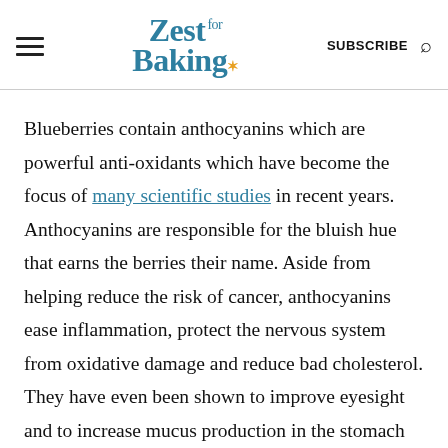Zest for Baking — SUBSCRIBE
Blueberries contain anthocyanins which are powerful anti-oxidants which have become the focus of many scientific studies in recent years. Anthocyanins are responsible for the bluish hue that earns the berries their name. Aside from helping reduce the risk of cancer, anthocyanins ease inflammation, protect the nervous system from oxidative damage and reduce bad cholesterol. They have even been shown to improve eyesight and to increase mucus production in the stomach — protecting the stomach from injury and ulcers.